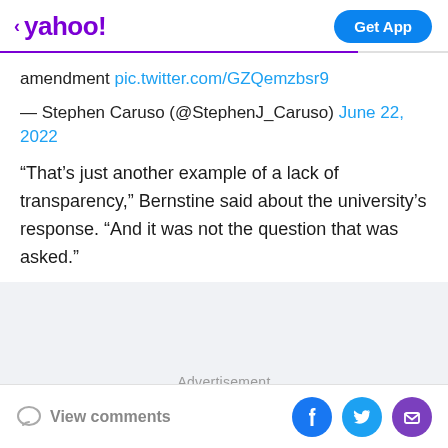< yahoo!  Get App
amendment pic.twitter.com/GZQemzbsr9
— Stephen Caruso (@StephenJ_Caruso) June 22, 2022
“That’s just another example of a lack of transparency,” Bernstine said about the university’s response. “And it was not the question that was asked.”
Advertisement
View comments